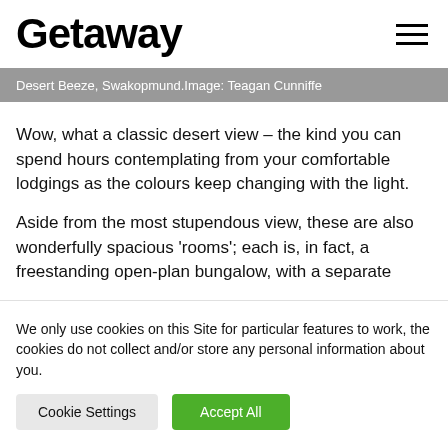Getaway
Desert Beeze, Swakopmund.Image: Teagan Cunniffe
Wow, what a classic desert view – the kind you can spend hours contemplating from your comfortable lodgings as the colours keep changing with the light.
Aside from the most stupendous view, these are also wonderfully spacious 'rooms'; each is, in fact, a freestanding open-plan bungalow, with a separate
We only use cookies on this Site for particular features to work, the cookies do not collect and/or store any personal information about you.